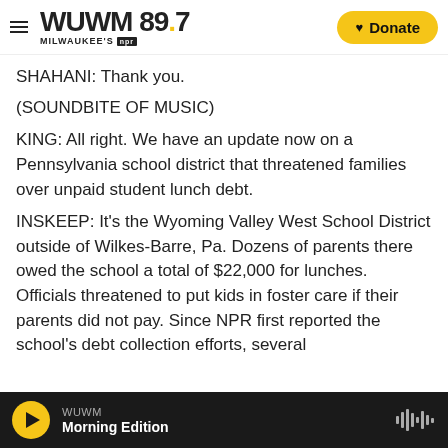WUWM 89.7 Milwaukee's NPR — Donate
SHAHANI: Thank you.
(SOUNDBITE OF MUSIC)
KING: All right. We have an update now on a Pennsylvania school district that threatened families over unpaid student lunch debt.
INSKEEP: It's the Wyoming Valley West School District outside of Wilkes-Barre, Pa. Dozens of parents there owed the school a total of $22,000 for lunches. Officials threatened to put kids in foster care if their parents did not pay. Since NPR first reported the school's debt collection efforts, several
WUWM — Morning Edition